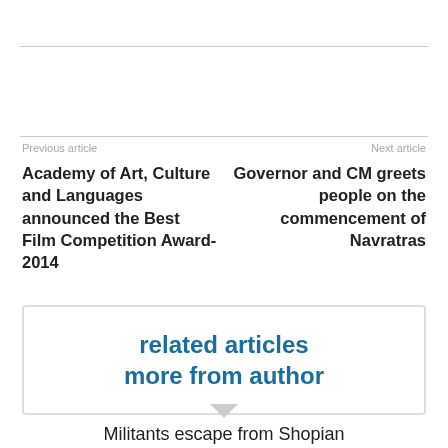Previous article
Academy of Art, Culture and Languages announced the Best Film Competition Award-2014
Next article
Governor and CM greets people on the commencement of Navratras
related articles
more from author
Militants escape from Shopian